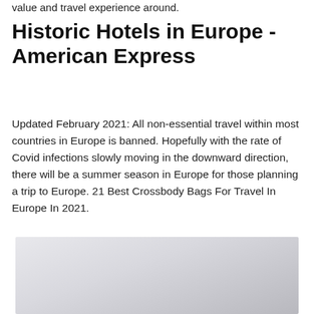value and travel experience around.
Historic Hotels in Europe - American Express
Updated February 2021: All non-essential travel within most countries in Europe is banned. Hopefully with the rate of Covid infections slowly moving in the downward direction, there will be a summer season in Europe for those planning a trip to Europe. 21 Best Crossbody Bags For Travel In Europe In 2021.
[Figure (photo): A light grey/silver toned photograph, partially visible at the bottom of the page, likely showing a hotel or European scene.]